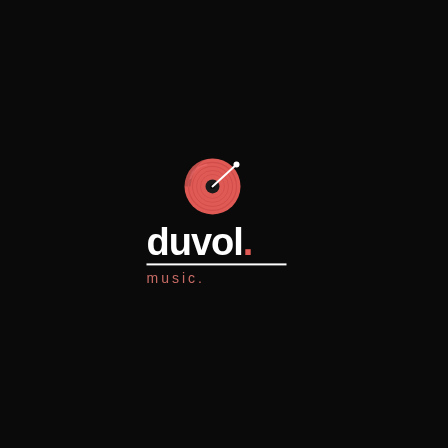[Figure (logo): Duvol Music logo: a red vinyl record icon above the text 'duvol.' in white bold font with a red period, underlined by a white horizontal rule, and 'music.' in smaller salmon/coral colored text below, all on a black background.]